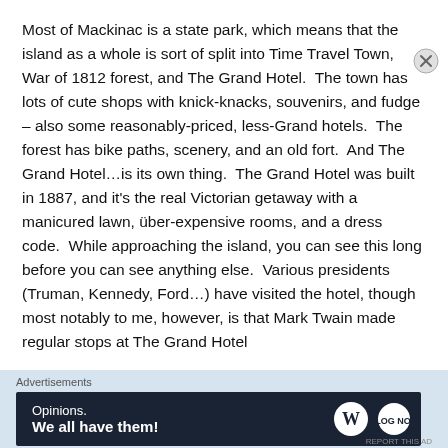Most of Mackinac is a state park, which means that the island as a whole is sort of split into Time Travel Town, War of 1812 forest, and The Grand Hotel.  The town has lots of cute shops with knick-knacks, souvenirs, and fudge – also some reasonably-priced, less-Grand hotels.  The forest has bike paths, scenery, and an old fort.  And The Grand Hotel…is its own thing.  The Grand Hotel was built in 1887, and it's the real Victorian getaway with a manicured lawn, über-expensive rooms, and a dress code.  While approaching the island, you can see this long before you can see anything else.  Various presidents (Truman, Kennedy, Ford…) have visited the hotel, though most notably to me, however, is that Mark Twain made regular stops at The Grand Hotel
Advertisements
[Figure (infographic): Advertisement banner with dark navy background reading 'Opinions. We all have them!' with WordPress logo and another circular logo on the right.]